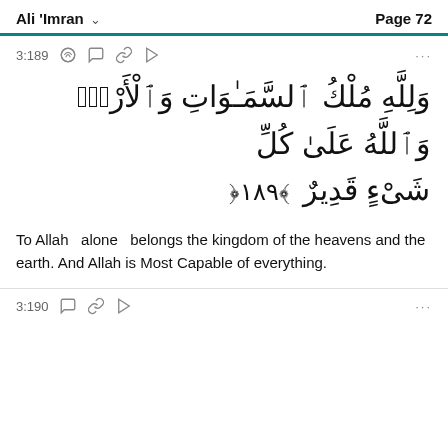Ali 'Imran   Page 72
3:189
وَلِلَّهِ مُلْكُ السَّمَوَاتِ وَالْأَرْضِۗ وَاللَّهُ عَلَىٰ كُلِّ شَىْءٍ قَدِيرٌ ﴿١٨٩﴾
To Allah  alone  belongs the kingdom of the heavens and the earth. And Allah is Most Capable of everything.
3:190